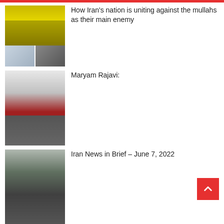[Figure (photo): Yellow banner with Arabic text and crowd photos below]
How Iran’s nation is uniting against the mullahs as their main enemy
[Figure (photo): Interior corridor with Iranian flags]
Maryam Rajavi:
[Figure (photo): Crowd of people gathered outdoors]
Iran News in Brief – June 7, 2022
[Figure (photo): Meeting room with Ukrainian and Iranian flags, people seated]
Ukrainian MP Kira Rudik Meets NCRI President-elect Maryam Rajavi at Ashraf-3
[Figure (photo): Partial image at bottom]